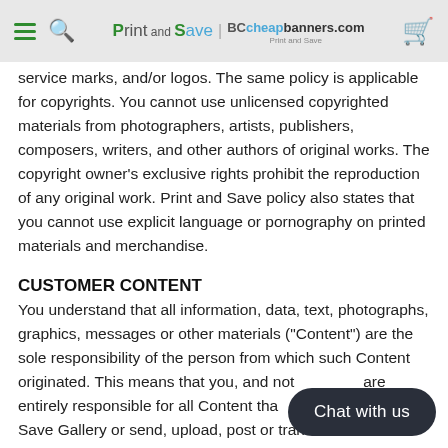Print and Save | BCcheapbanners.com
service marks, and/or logos. The same policy is applicable for copyrights. You cannot use unlicensed copyrighted materials from photographers, artists, publishers, composers, writers, and other authors of original works. The copyright owner's exclusive rights prohibit the reproduction of any original work. Print and Save policy also states that you cannot use explicit language or pornography on printed materials and merchandise.
CUSTOMER CONTENT
You understand that all information, data, text, photographs, graphics, messages or other materials ("Content") are the sole responsibility of the person from which such Content originated. This means that you, and not [Print and Save], are entirely responsible for all Content that [you upload to the Print and Save Gallery or send, upload, post or transmit via the Service. Recognizing the global nature of the Internet, you